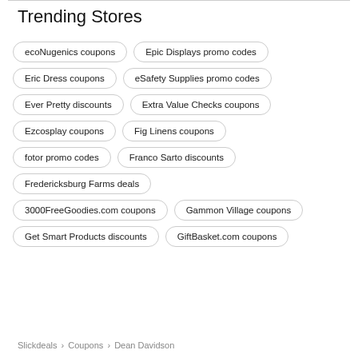Trending Stores
ecoNugenics coupons
Epic Displays promo codes
Eric Dress coupons
eSafety Supplies promo codes
Ever Pretty discounts
Extra Value Checks coupons
Ezcosplay coupons
Fig Linens coupons
fotor promo codes
Franco Sarto discounts
Fredericksburg Farms deals
3000FreeGoodies.com coupons
Gammon Village coupons
Get Smart Products discounts
GiftBasket.com coupons
Slickdeals > Coupons > Dean Davidson